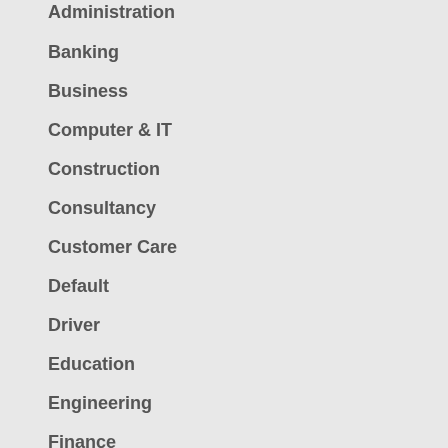Administration
Banking
Business
Computer & IT
Construction
Consultancy
Customer Care
Default
Driver
Education
Engineering
Finance
General